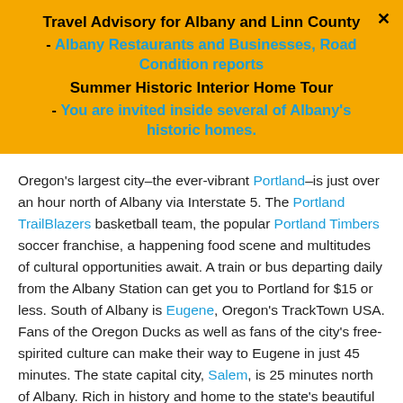Travel Advisory for Albany and Linn County - Albany Restaurants and Businesses, Road Condition reports Summer Historic Interior Home Tour - You are invited inside several of Albany's historic homes.
Oregon's largest city–the ever-vibrant Portland–is just over an hour north of Albany via Interstate 5. The Portland TrailBlazers basketball team, the popular Portland Timbers soccer franchise, a happening food scene and multitudes of cultural opportunities await. A train or bus departing daily from the Albany Station can get you to Portland for $15 or less. South of Albany is Eugene, Oregon's TrackTown USA. Fans of the Oregon Ducks as well as fans of the city's free-spirited culture can make their way to Eugene in just 45 minutes. The state capital city, Salem, is 25 minutes north of Albany. Rich in history and home to the state's beautiful capitol building, it's another destination easily accessible from Albany.